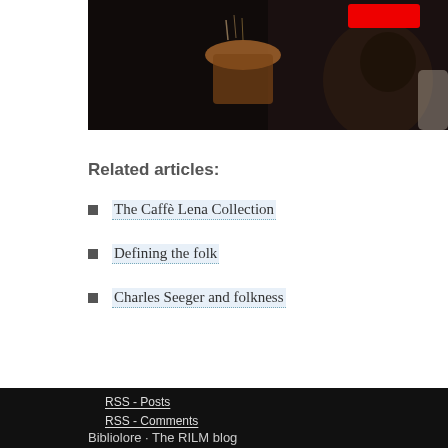[Figure (screenshot): Dark screenshot of a video or image with a person in a hat, orange/brown tones, and a red button/badge in the upper right corner.]
Related articles:
The Caffè Lena Collection
Defining the folk
Charles Seeger and folkness
RSS - Posts
RSS - Comments
Bibliolore · The RILM blog